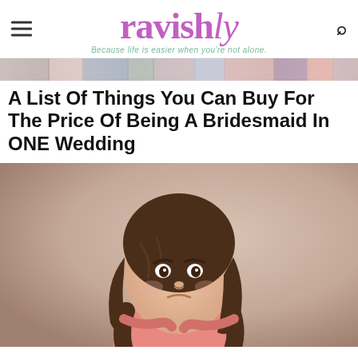ravishly — Because life is easier when you're not alone.
[Figure (photo): Horizontal strip showing colorful clothing/fabric items]
A List Of Things You Can Buy For The Price Of Being A Bridesmaid In ONE Wedding
[Figure (photo): Young girl with brown wavy hair, wearing a pink long-sleeve shirt, arms crossed, looking angry or upset, against a beige/tan background]